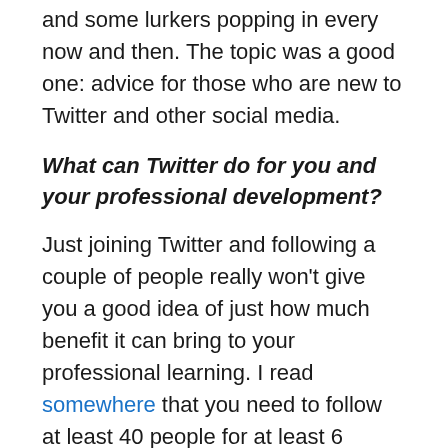and some lurkers popping in every now and then. The topic was a good one: advice for those who are new to Twitter and other social media.
What can Twitter do for you and your professional development?
Just joining Twitter and following a couple of people really won't give you a good idea of just how much benefit it can bring to your professional learning. I read somewhere that you need to follow at least 40 people for at least 6 months before making a decision for or against the usefulness of Twitter and I have to say that I agree, although when I started